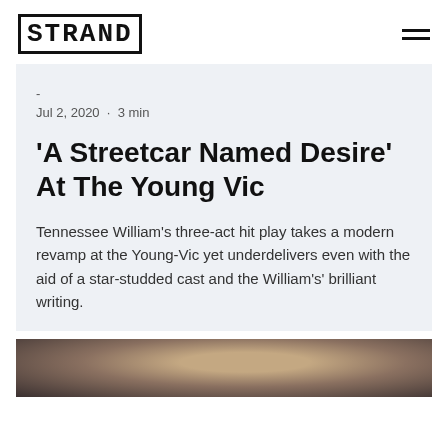STRAND
-
Jul 2, 2020 · 3 min
'A Streetcar Named Desire' At The Young Vic
Tennessee William's three-act hit play takes a modern revamp at the Young-Vic yet underdelivers even with the aid of a star-studded cast and the William's' brilliant writing.
[Figure (photo): Partially visible blurred photo of a person, shown at the bottom of the page]